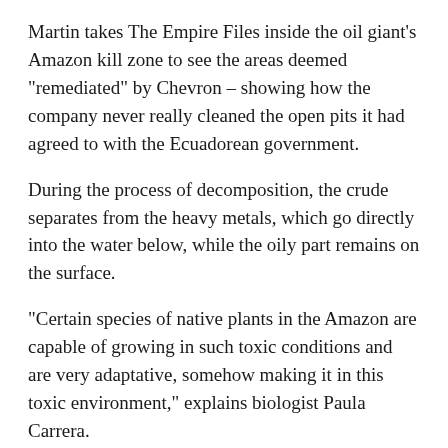Martin takes The Empire Files inside the oil giant's Amazon kill zone to see the areas deemed "remediated" by Chevron – showing how the company never really cleaned the open pits it had agreed to with the Ecuadorean government.
During the process of decomposition, the crude separates from the heavy metals, which go directly into the water below, while the oily part remains on the surface.
"Certain species of native plants in the Amazon are capable of growing in such toxic conditions and are very adaptative, somehow making it in this toxic environment," explains biologist Paula Carrera.
But still the vegetation is not growing like it should: when Martin pulls over a plant and tears it apart, the stem is